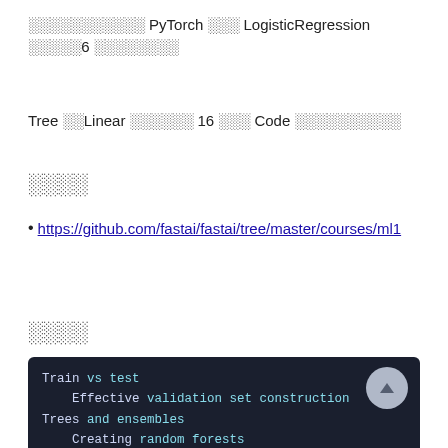░░░░░░░░░░░ PyTorch ░░░ LogisticRegression ░░░░░6 ░░░░░░░░
Tree ░░Linear ░░░░░░ 16 ░░░ Code ░░░░░░░░░░
░░░░
https://github.com/fastai/fastai/tree/master/courses/ml1
░░░░
[Figure (screenshot): Dark-themed code/navigation panel showing: Train vs test, Effective validation set construction, Trees and ensembles, Creating random forests, Interpreting random forests]